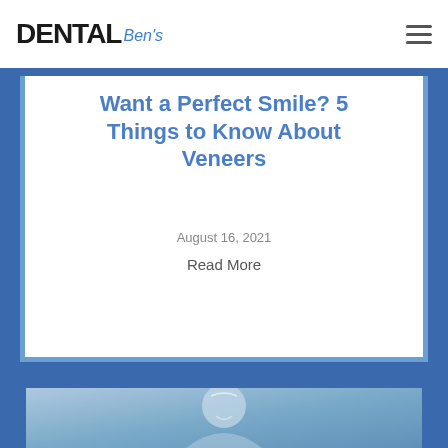Dental Ben's
Want a Perfect Smile? 5 Things to Know About Veneers
August 16, 2021
Read More
[Figure (photo): Photo of a person smiling, shown in second article card with blue background]